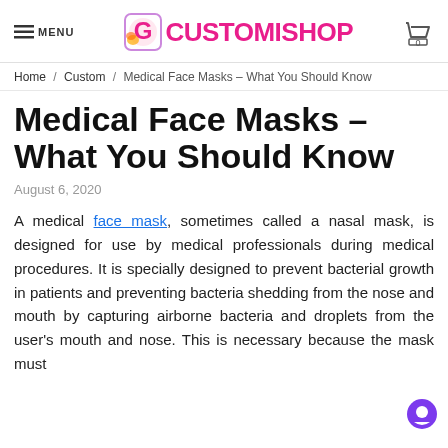MENU | CUSTOMISHOP | 0
Home / Custom / Medical Face Masks – What You Should Know
Medical Face Masks – What You Should Know
August 6, 2020
A medical face mask, sometimes called a nasal mask, is designed for use by medical professionals during medical procedures. It is specially designed to prevent bacterial growth in patients and preventing bacteria shedding from the nose and mouth by capturing airborne bacteria and droplets from the user's mouth and nose. This is necessary because the mask must